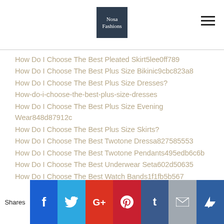Nosa Fashions
How Do I Choose The Best Pleated Skirt5lee0ff789
How Do I Choose The Best Plus Size Bikinic9cbc823a8
How Do I Choose The Best Plus Size Dresses?
How-do-i-choose-the-best-plus-size-dresses
How Do I Choose The Best Plus Size Evening Wear848d87912c
How Do I Choose The Best Plus Size Skirts?
How Do I Choose The Best Twotone Dressa827585553
How Do I Choose The Best Twotone Pendants495edb6c6b
How Do I Choose The Best Underwear Seta602d50635
How Do I Choose The Best Watch Bands1f1fb5b567
How Do I Choose The Most Comfortable High Heels961fabe0ed
Shares | Facebook | Twitter | Google+ | Pinterest | Tumblr | Email | Supr